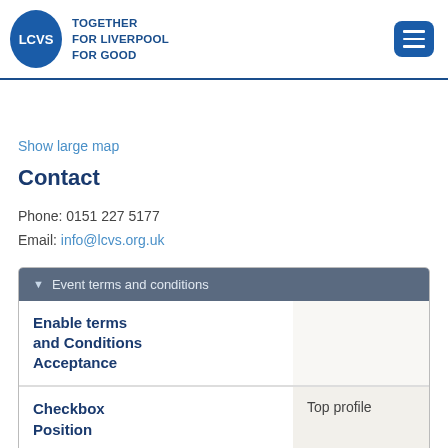LCVS — TOGETHER FOR LIVERPOOL FOR GOOD
Show large map
Contact
Phone: 0151 227 5177
Email: info@lcvs.org.uk
| Field | Value |
| --- | --- |
| Enable terms and Conditions Acceptance |  |
| Checkbox Position | Top profile |